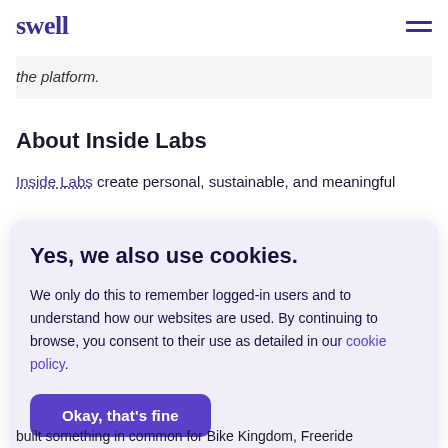swell
the platform.
About Inside Labs
Inside Labs create personal, sustainable, and meaningful
Yes, we also use cookies.
We only do this to remember logged-in users and to understand how our websites are used. By continuing to browse, you consent to their use as detailed in our cookie policy.
Okay, that's fine
built something in common for Bike Kingdom, Freeride